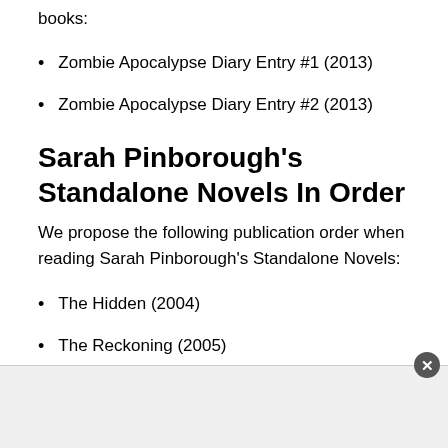books:
Zombie Apocalypse Diary Entry #1 (2013)
Zombie Apocalypse Diary Entry #2 (2013)
Sarah Pinborough's Standalone Novels In Order
We propose the following publication order when reading Sarah Pinborough's Standalone Novels:
The Hidden (2004)
The Reckoning (2005)